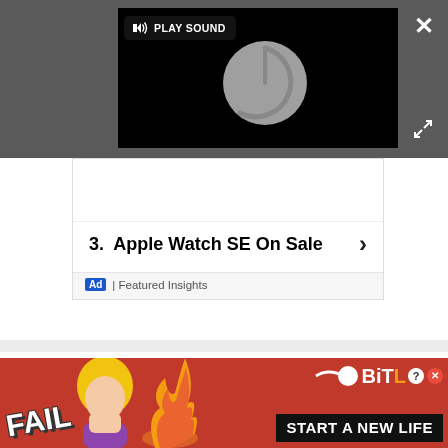[Figure (screenshot): Video player overlay with dark gray background, black video area showing a circular loading spinner, a 'PLAY SOUND' button with speaker icon, a white X close button in the top-right, and a resize/expand icon in the middle-right.]
[Figure (screenshot): Advertisement card with numbered list item '3. Apple Watch SE On Sale' with a chevron, and an 'Ad | Featured Insights' footer label.]
Moving to ARM processors
That's the first big transition. Waiting in the wings is
[Figure (screenshot): BitLife mobile game advertisement banner with red/orange background, 'FAIL' text, animated female character, fire graphic, BitLife logo with question mark, and 'START A NEW LIFE' text on black background.]